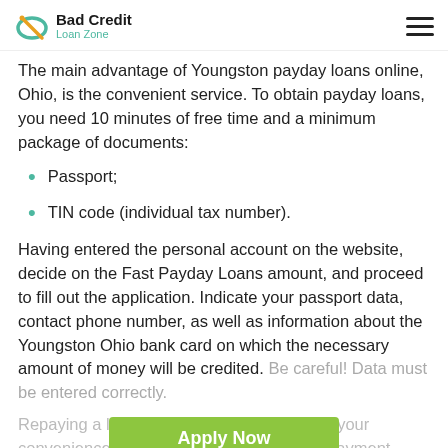Bad Credit Loan Zone
The main advantage of Youngston payday loans online, Ohio, is the convenient service. To obtain payday loans, you need 10 minutes of free time and a minimum package of documents:
Passport;
TIN code (individual tax number).
Having entered the personal account on the website, decide on the Fast Payday Loans amount, and proceed to fill out the application. Indicate your passport data, contact phone number, as well as information about the Youngston Ohio bank card on which the necessary amount of money will be credited. Be careful! Data must be entered correctly.
[Figure (other): Green Apply Now button overlay with text: Applying does NOT affect your credit score! No credit check to apply.]
Repaying a loan is as easy as taking it. For your convenience, we have foreseen several repayment options:
Payment by card on the website being logged into your